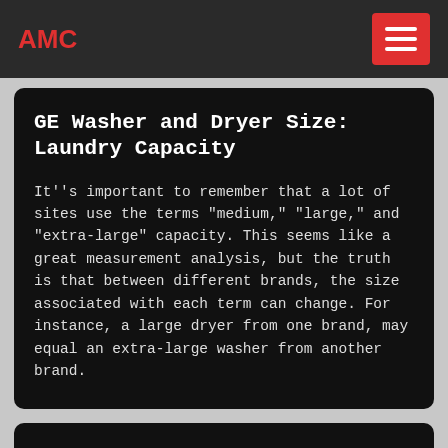AMC
GE Washer and Dryer Size: Laundry Capacity
It''s important to remember that a lot of sites use the terms "medium," "large," and "extra-large" capacity. This seems like a great measurement analysis, but the truth is that between different brands, the size associated with each term can change. For instance, a large dryer from one brand, may equal an extra-large washer from another brand.
How to Bathe a Medium Sized Dog: 15 Steps (with Pictures)